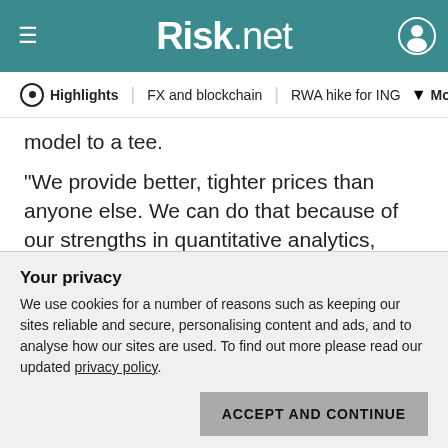Risk.net
Highlights | FX and blockchain | RWA hike for ING | More
model to a tee.
"We provide better, tighter prices than anyone else. We can do that because of our strengths in quantitative analytics, technology and risk management. We're also better at identifying the best talent and hiring them – our culture of performance and results speak for themselves. It's a virtuous cycle," says Nazarali.
The numbers are impressive. In terms of dollar value, the
Your privacy
We use cookies for a number of reasons such as keeping our sites reliable and secure, personalising content and ads, and to analyse how our sites are used. To find out more please read our updated privacy policy.
ACCEPT AND CONTINUE